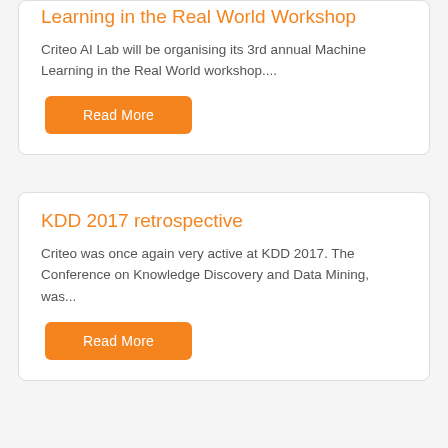Learning in the Real World Workshop
Criteo AI Lab will be organising its 3rd annual Machine Learning in the Real World workshop....
Read More
KDD 2017 retrospective
Criteo was once again very active at KDD 2017. The Conference on Knowledge Discovery and Data Mining, was...
Read More